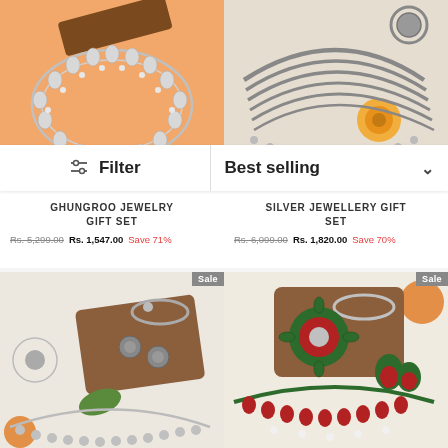[Figure (photo): Silver ghungroo necklace on orange background]
[Figure (photo): Silver multi-strand necklace with earrings on beige background with marigold flower]
Filter
Best selling
GHUNGROO JEWELRY GIFT SET
Rs. 5,299.00  Rs. 1,547.00  Save 71%
SILVER JEWELLERY GIFT SET
Rs. 6,099.00  Rs. 1,820.00  Save 70%
[Figure (photo): Oxidized silver jewelry set with necklace, earrings, maang tikka and bracelet]
[Figure (photo): Red and green stone jewelry set with necklace, earrings and ring]